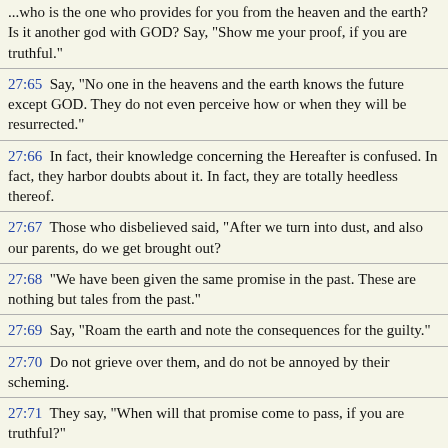...who is the one who provides for you from the heaven and the earth? Is it another god with GOD? Say, "Show me your proof, if you are truthful."
27:65  Say, "No one in the heavens and the earth knows the future except GOD. They do not even perceive how or when they will be resurrected."
27:66  In fact, their knowledge concerning the Hereafter is confused. In fact, they harbor doubts about it. In fact, they are totally heedless thereof.
27:67  Those who disbelieved said, "After we turn into dust, and also our parents, do we get brought out?
27:68  "We have been given the same promise in the past. These are nothing but tales from the past."
27:69  Say, "Roam the earth and note the consequences for the guilty."
27:70  Do not grieve over them, and do not be annoyed by their scheming.
27:71  They say, "When will that promise come to pass, if you are truthful?"
27:72  Say, "You are already suffering some of the retribution you challenge."